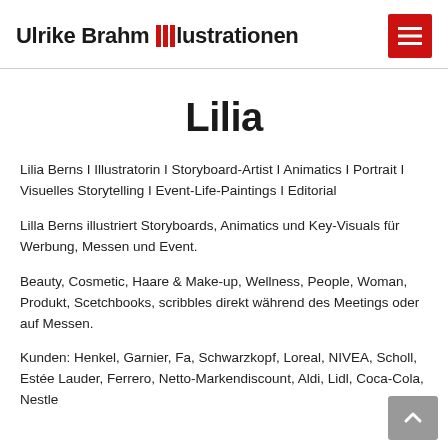Ulrike Brahm Illustrationen
Lilia
Lilia Berns I Illustratorin I Storyboard-Artist I Animatics I Portrait I Visuelles Storytelling I Event-Life-Paintings I Editorial
Lilla Berns illustriert Storyboards, Animatics und Key-Visuals für Werbung, Messen und Event.
Beauty, Cosmetic, Haare & Make-up, Wellness, People, Woman, Produkt, Scetchbooks, scribbles direkt während des Meetings oder auf Messen.
Kunden: Henkel, Garnier, Fa, Schwarzkopf, Loreal, NIVEA, Scholl, Estée Lauder, Ferrero, Netto-Markendiscount, Aldi, Lidl, Coca-Cola, Nestle